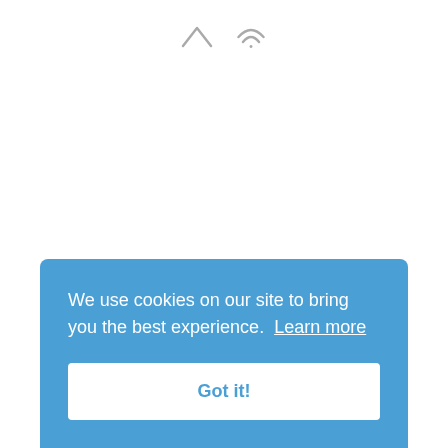[Figure (other): Two gray icons at the top center: a caret/up-arrow icon and an RSS/wifi signal icon]
We use cookies on our site to bring you the best experience. Learn more
Got it!